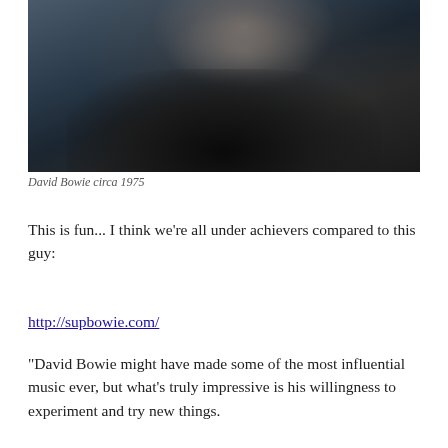[Figure (photo): Black and white photograph of David Bowie circa 1975, wearing a black leather jacket, resting his arms on a surface and looking at the camera]
David Bowie circa 1975
This is fun... I think we're all under achievers compared to this guy:
http://supbowie.com/
“David Bowie might have made some of the most influential music ever, but what’s truly impressive is his willingness to experiment and try new things.
This page is to celebrate David Bowie, and remind us to get